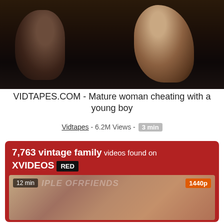[Figure (screenshot): Dark video thumbnail showing two figures close together with overlay text reading FREE Full Movie At WWW.VIDTAPES.COM]
VIDTAPES.COM - Mature woman cheating with a young boy
Vidtapes - 6.2M Views - 3 min
[Figure (screenshot): XVIDEOS banner showing 7,763 vintage family videos found on XVIDEOS RED, with a video thumbnail showing 12 min duration and 1440p quality badge]